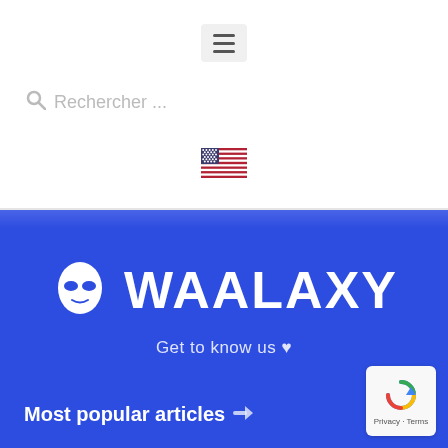[Figure (screenshot): Hamburger menu button icon (three horizontal lines) on light gray rounded background]
Rechercher ...
[Figure (illustration): US flag emoji]
WAALAXY
Get to know us ♥
Most popular articles →